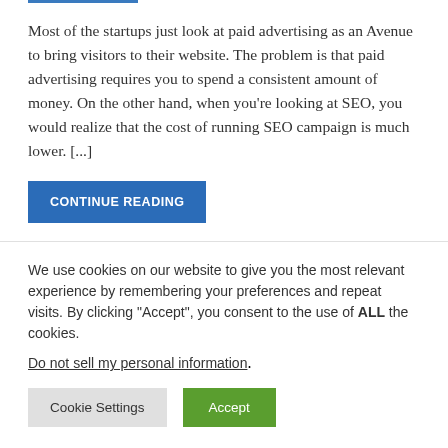Most of the startups just look at paid advertising as an Avenue to bring visitors to their website. The problem is that paid advertising requires you to spend a consistent amount of money. On the other hand, when you're looking at SEO, you would realize that the cost of running SEO campaign is much lower. [...]
CONTINUE READING
We use cookies on our website to give you the most relevant experience by remembering your preferences and repeat visits. By clicking “Accept”, you consent to the use of ALL the cookies.
Do not sell my personal information.
Cookie Settings
Accept